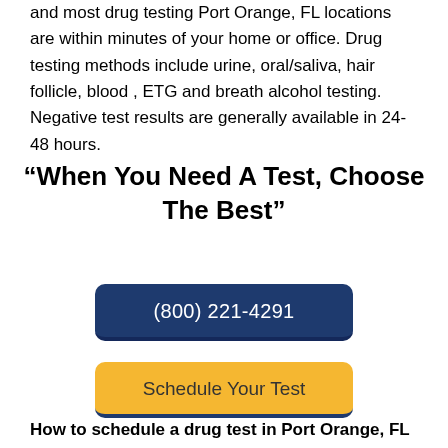and most drug testing Port Orange, FL locations are within minutes of your home or office. Drug testing methods include urine, oral/saliva, hair follicle, blood , ETG and breath alcohol testing. Negative test results are generally available in 24-48 hours.
“When You Need A Test, Choose The Best”
(800) 221-4291
Schedule Your Test
How to schedule a drug test in Port Orange, FL